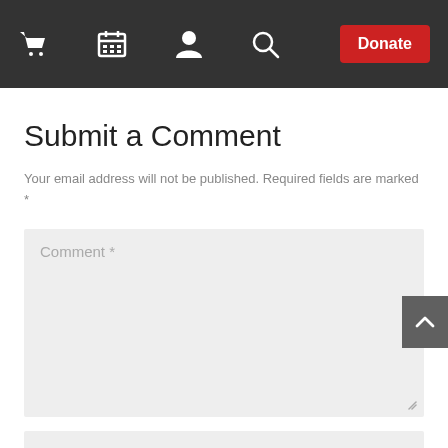Navigation bar with cart, calendar, person, search icons and Donate button
Submit a Comment
Your email address will not be published. Required fields are marked *
Comment *
Name *